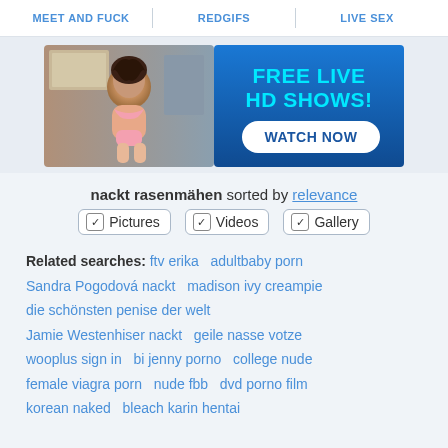MEET AND FUCK | REDGIFS | LIVE SEX
[Figure (photo): Advertisement banner: woman in pink bikini on left, blue background on right with text 'FREE LIVE HD SHOWS!' in cyan and 'WATCH NOW' button in white]
nackt rasenmähen sorted by relevance
✓ Pictures  ✓ Videos  ✓ Gallery
Related searches: ftv erika  adultbaby porn  Sandra Pogodová nackt  madison ivy creampie  die schönsten penise der welt  Jamie Westenhiser nackt  geile nasse votze  wooplus sign in  bi jenny porno  college nude  female viagra porn  nude fbb  dvd porno film  korean naked  bleach karin hentai